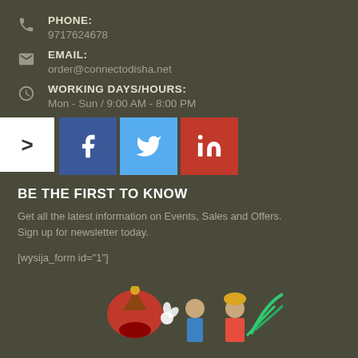PHONE:
9717624678
EMAIL:
order@connectodisha.net
WORKING DAYS/HOURS:
Mon - Sun / 9:00 AM - 8:00 PM
[Figure (other): Social media share buttons: arrow/chevron button (white), Facebook (blue), Twitter (light blue), LinkedIn (red)]
BE THE FIRST TO KNOW
Get all the latest information on Events, Sales and Offers. Sign up for newsletter today.
[wysija_form id="1"]
[Figure (illustration): Indian cultural illustration with figures in traditional dress and decorative elements at the bottom of the page]